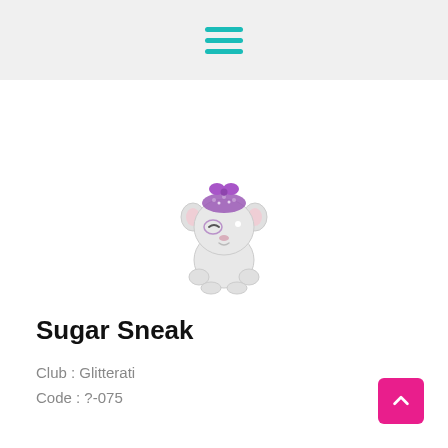[Figure (illustration): A small cute cartoon animal character (koala/hamster) with purple glitter hair, a purple bow on top, one winking eye and one large black eye, gray-white fluffy body with small paws. LOL Surprise Pets style illustration.]
Sugar Sneak
Club : Glitterati
Code : ?-075